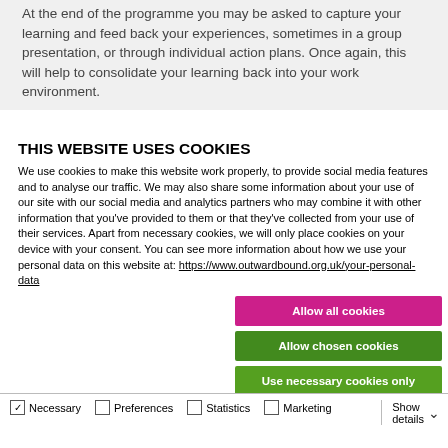At the end of the programme you may be asked to capture your learning and feed back your experiences, sometimes in a group presentation, or through individual action plans. Once again, this will help to consolidate your learning back into your work environment.
THIS WEBSITE USES COOKIES
We use cookies to make this website work properly, to provide social media features and to analyse our traffic. We may also share some information about your use of our site with our social media and analytics partners who may combine it with other information that you've provided to them or that they've collected from your use of their services. Apart from necessary cookies, we will only place cookies on your device with your consent. You can see more information about how we use your personal data on this website at: https://www.outwardbound.org.uk/your-personal-data
Allow all cookies
Allow chosen cookies
Use necessary cookies only
Necessary | Preferences | Statistics | Marketing | Show details